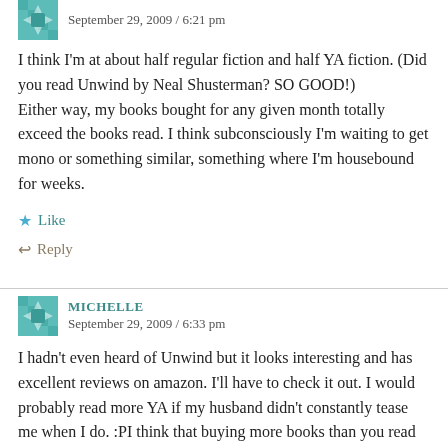September 29, 2009 / 6:21 pm
I think I'm at about half regular fiction and half YA fiction. (Did you read Unwind by Neal Shusterman? SO GOOD!) Either way, my books bought for any given month totally exceed the books read. I think subconsciously I'm waiting to get mono or something similar, something where I'm housebound for weeks.
Like
Reply
MICHELLE
September 29, 2009 / 6:33 pm
I hadn't even heard of Unwind but it looks interesting and has excellent reviews on amazon. I'll have to check it out. I would probably read more YA if my husband didn't constantly tease me when I do. :PI think that buying more books than you read is simply the sign of a